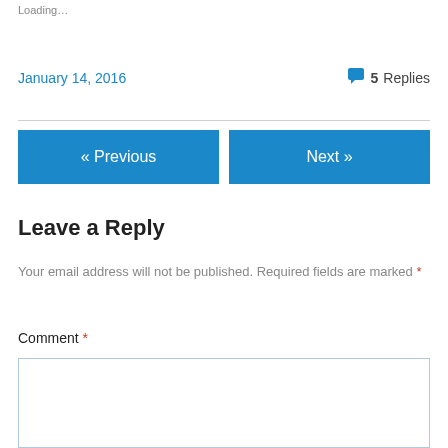Loading...
January 14, 2016
5 Replies
« Previous
Next »
Leave a Reply
Your email address will not be published. Required fields are marked *
Comment *